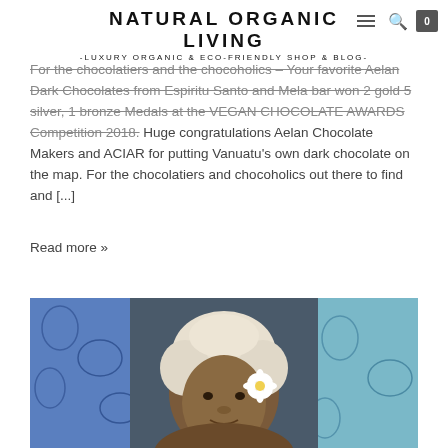NATURAL ORGANIC LIVING -LUXURY ORGANIC & ECO-FRIENDLY SHOP & BLOG-
For the chocolatiers and the chocoholics – Your favorite Aelan Dark Chocolates from Espiritu Santo and Mela bar won 2 gold 5 silver, 1 bronze Medals at the VEGAN CHOCOLATE AWARDS Competition 2018. Huge congratulations Aelan Chocolate Makers and ACIAR for putting Vanuatu's own dark chocolate on the map. For the chocolatiers and chocoholics out there to find and [...]
Read more »
[Figure (photo): An elderly Pacific Islander woman with white afro hair and a white flower behind her ear, in front of colorful printed fabric backgrounds]